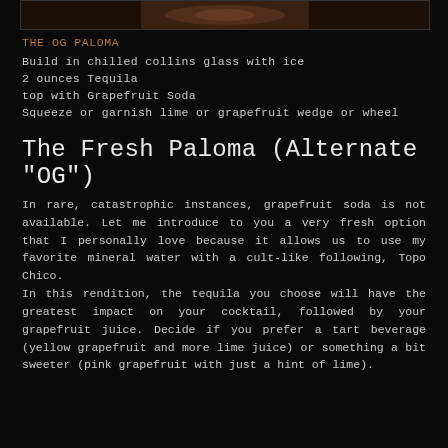[Figure (photo): Partial image at top of page, dark tones, appears to be a drink or food item]
THE OG PALOMA
Build in chilled collins glass with ice
2 ounces Tequila
top with Grapefruit Soda
Squeeze or garnish lime or grapefruit wedge or wheel
The Fresh Paloma (Alternate "OG")
In rare, catastrophic instances, grapefruit soda is not available. Let me introduce to you a very fresh option that I personally love because it allows us to use my favorite mineral water with a cult-like following, Topo Chico.
In this rendition, the tequila you choose will have the greatest impact on your cocktail, followed by your grapefruit juice. Decide if you prefer a tart beverage (yellow grapefruit and more lime juice) or something a bit sweeter (pink grapefruit with just a hint of lime).